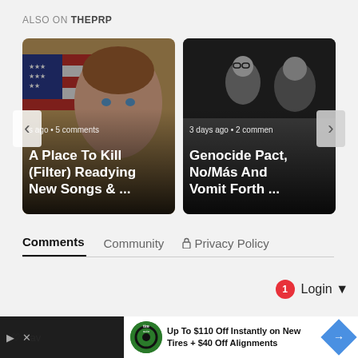ALSO ON THEPRP
[Figure (screenshot): Carousel card 1: A Place To Kill (Filter) Readying New Songs & ... — s ago • 5 comments, image shows person in front of American flag]
[Figure (screenshot): Carousel card 2: Genocide Pact, No/Más And Vomit Forth ... — 3 days ago • 2 comments, black and white photo of band]
Comments  Community  🔒 Privacy Policy
1  Login ▾
Fav…  Best
[Figure (screenshot): Ad banner: Up To $110 Off Instantly on New Tires + $40 Off Alignments — tire auto logo]